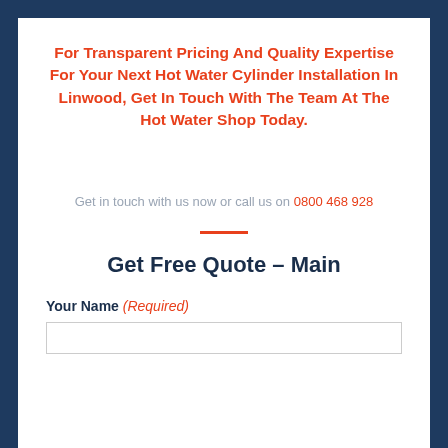For Transparent Pricing And Quality Expertise For Your Next Hot Water Cylinder Installation In Linwood, Get In Touch With The Team At The Hot Water Shop Today.
Get in touch with us now or call us on 0800 468 928
Get Free Quote - Main
Your Name (Required)